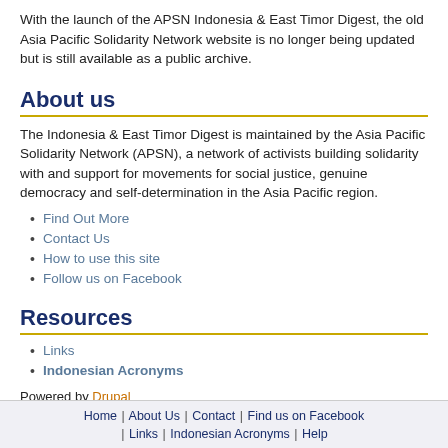With the launch of the APSN Indonesia & East Timor Digest, the old Asia Pacific Solidarity Network website is no longer being updated but is still available as a public archive.
About us
The Indonesia & East Timor Digest is maintained by the Asia Pacific Solidarity Network (APSN), a network of activists building solidarity with and support for movements for social justice, genuine democracy and self-determination in the Asia Pacific region.
Find Out More
Contact Us
How to use this site
Follow us on Facebook
Resources
Links
Indonesian Acronyms
Powered by Drupal
Home | About Us | Contact | Find us on Facebook | Links | Indonesian Acronyms | Help